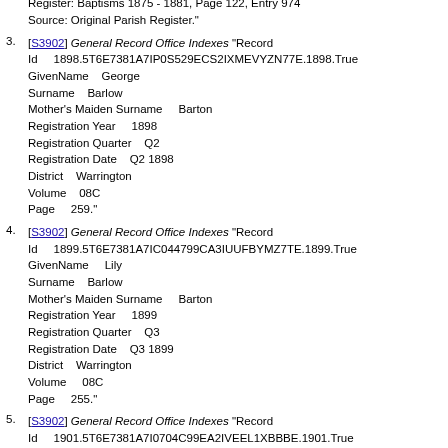Occupation: Mason
Baptised by: Joseph Fox
Register: Baptisms 1875 - 1881, Page 122, Entry 974
Source: Original Parish Register."
3. [S3902] General Record Office Indexes "Record Id  1898.5T6E7381A7IP0S529ECS2IXMEVYZN77E.1898.True GivenName  George Surname  Barlow Mother's Maiden Surname  Barton Registration Year  1898 Registration Quarter  Q2 Registration Date  Q2 1898 District  Warrington Volume  08C Page  259."
4. [S3902] General Record Office Indexes "Record Id  1899.5T6E7381A7IC044799CA3IUUFBYMZ7TE.1899.True GivenName  Lily Surname  Barlow Mother's Maiden Surname  Barton Registration Year  1899 Registration Quarter  Q3 Registration Date  Q3 1899 District  Warrington Volume  08C Page  255."
5. [S3902] General Record Office Indexes "Record Id  1901.5T6E7381A7I0704C99EA2IVEEL1XBBBE.1901.True GivenName  May Surname  Barlow